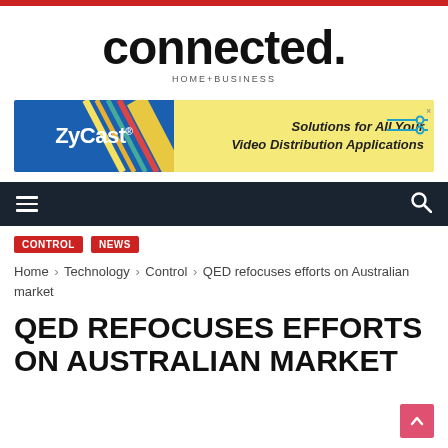[Figure (logo): connected. HOME+BUSINESS logo — large bold black lowercase text 'connected.' with tagline 'HOME+BUSINESS' below in small tracking caps]
[Figure (illustration): ZyCast advertisement banner — blue left panel with 'ZyCast' logo text, yellow right panel with diagonal colorful lines, italic text 'Solutions for All Your Video Distribution Applications', and circuit/connector icons on right]
[Figure (other): Dark navy navigation bar with hamburger menu icon on left and search/magnifying glass icon on right]
CONTROL
NEWS
Home › Technology › Control › QED refocuses efforts on Australian market
QED REFOCUSES EFFORTS ON AUSTRALIAN MARKET